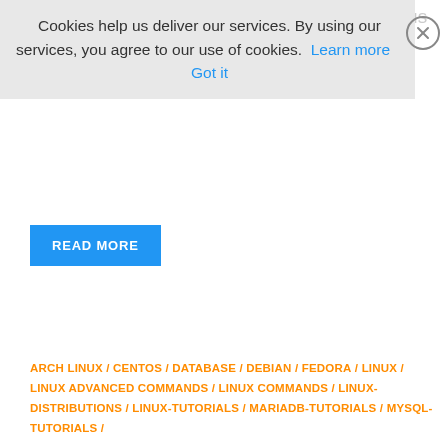Cookies help us deliver our services. By using our services, you agree to our use of cookies. Learn more  Got it
READ MORE
ARCH LINUX / CENTOS / DATABASE / DEBIAN / FEDORA / LINUX / LINUX ADVANCED COMMANDS / LINUX COMMANDS / LINUX-DISTRIBUTIONS / LINUX-TUTORIALS / MARIADB-TUTORIALS / MYSQL-TUTORIALS /